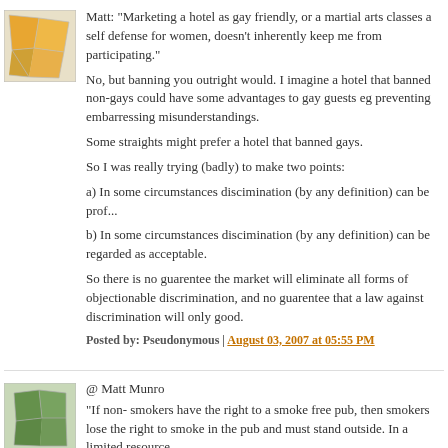Matt: "Marketing a hotel as gay friendly, or a martial arts classes a self defense for women, doesn't inherently keep me from participating."
No, but banning you outright would. I imagine a hotel that banned non-gays could have some advantages to gay guests eg preventing embarressing misunderstandings.
Some straights might prefer a hotel that banned gays.
So I was really trying (badly) to make two points:
a) In some circumstances discimination (by any definition) can be prof...
b) In some circumstances discimination (by any definition) can be regarded as acceptable.
So there is no guarentee the market will eliminate all forms of objectionable discrimination, and no guarentee that a law against discrimination will only good.
Posted by: Pseudonymous | August 03, 2007 at 05:55 PM
@ Matt Munro
"If non- smokers have the right to a smoke free pub, then smokers lose the right to smoke in the pub and must stand outside. In a limited resource...